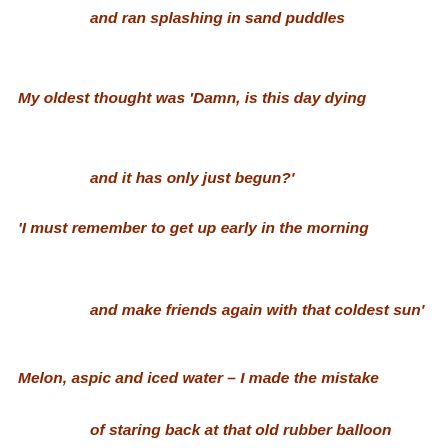and ran splashing in sand puddles
My oldest thought was ‘Damn, is this day dying
and it has only just begun?’
‘I must remember to get up early in the morning
and make friends again with that coldest sun’
Melon, aspic and iced water – I made the mistake
of staring back at that old rubber balloon